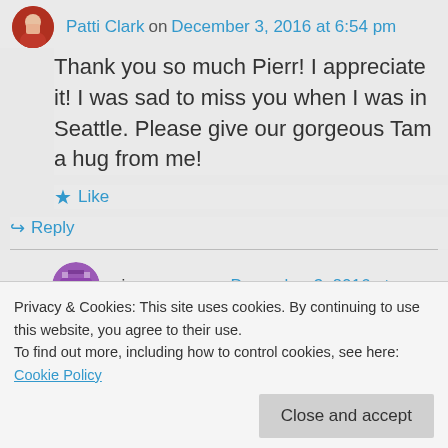Patti Clark on December 3, 2016 at 6:54 pm
Thank you so much Pierr! I appreciate it! I was sad to miss you when I was in Seattle. Please give our gorgeous Tam a hug from me!
Like
Reply
pierrmorgan on December 3, 2016 at
Privacy & Cookies: This site uses cookies. By continuing to use this website, you agree to their use.
To find out more, including how to control cookies, see here: Cookie Policy
Close and accept
Liked by 1 person